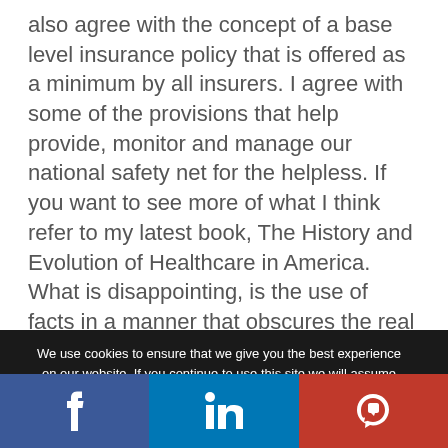also agree with the concept of a base level insurance policy that is offered as a minimum by all insurers. I agree with some of the provisions that help provide, monitor and manage our national safety net for the helpless. If you want to see more of what I think refer to my latest book, The History and Evolution of Healthcare in America. What is disappointing, is the use of facts in a manner that obscures the real effects of the law, in once respect, and the ignorance of the problems in the underlying mechanisms, unintended consequences,
We use cookies to ensure that we give you the best experience on our website. If you continue to use this site we will assume that you are happy with it. This website is not intended for those who live in the European Economic Area.
f  in  P